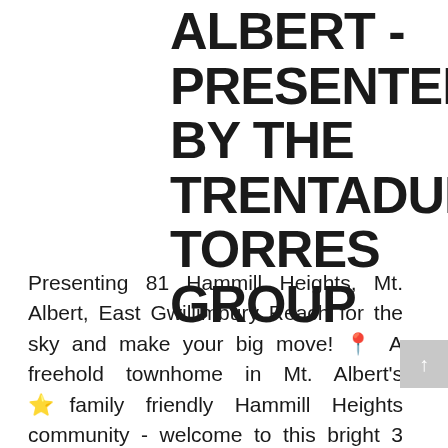ALBERT - PRESENTED BY THE TRENTADUE TORRES GROUP
Presenting 81 Hammill Heights, Mt. Albert, East Gwillimbury Reach for the sky and make your big move! 📍 A freehold townhome in Mt. Albert's 🌟family friendly Hammill Heights community - welcome to this bright 3 bedroom 2 bathroom home nestled on a